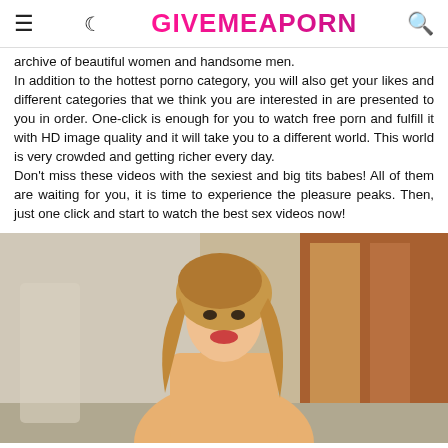GiveMeAPorn
archive of beautiful women and handsome men.
In addition to the hottest porno category, you will also get your likes and different categories that we think you are interested in are presented to you in order. One-click is enough for you to watch free porn and fulfill it with HD image quality and it will take you to a different world. This world is very crowded and getting richer every day.
Don't miss these videos with the sexiest and big tits babes! All of them are waiting for you, it is time to experience the pleasure peaks. Then, just one click and start to watch the best sex videos now!
[Figure (photo): Photo of a blonde woman in an indoor setting]